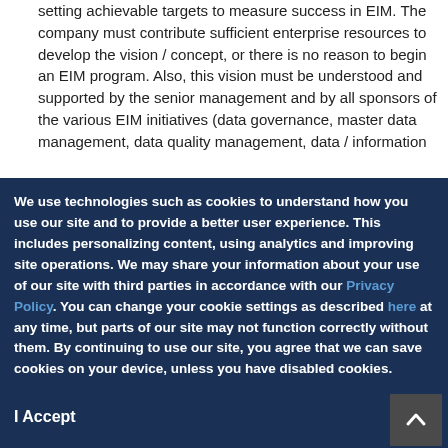setting achievable targets to measure success in EIM. The company must contribute sufficient enterprise resources to develop the vision / concept, or there is no reason to begin an EIM program. Also, this vision must be understood and supported by the senior management and by all sponsors of the various EIM initiatives (data governance, master data management, data quality management, data / information...
We use technologies such as cookies to understand how you use our site and to provide a better user experience. This includes personalizing content, using analytics and improving site operations. We may share your information about your use of our site with third parties in accordance with our Privacy Policy. You can change your cookie settings as described here at any time, but parts of our site may not function correctly without them. By continuing to use our site, you agree that we can save cookies on your device, unless you have disabled cookies.
I Accept